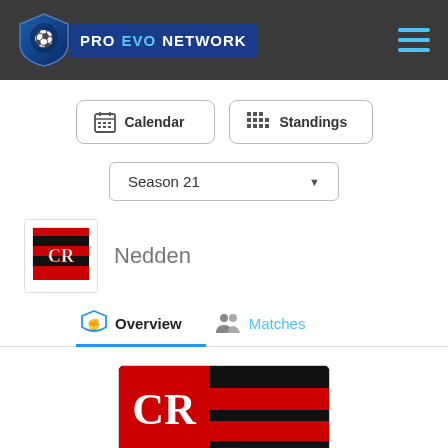PRO EVO NETWORK
Calendar
Standings
Season 21
Nedden
Overview
Matches
[Figure (logo): Flamengo club crest badge (large, red/black/white) shown at bottom of page]